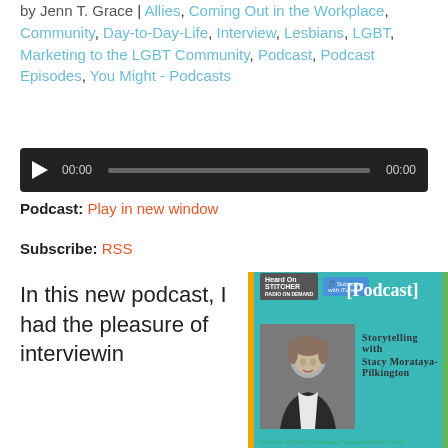by Jenn T. Grace | Allies, Coming Out in the Workplace, Community, Day-to-Day-Life, Interview, Lesbians, LGBT, Marketing to the LGBT Community, Podcast, Podcast Episodes, You Might - Podcasts
[Figure (screenshot): Audio player with play button, time 00:00, progress bar, and end time 00:00 on dark background]
Podcast: Play in new window
Subscribe: RSS
In this new podcast, I had the pleasure of interviewin
[Figure (photo): Podcast promotional image featuring [PODCAST] text in teal, Storytelling with Stacy Morataya-Pilkington text, photo of woman, Stitcher and iTunes subscribe badges, teal/orange/green border. Director of Hotel Operations, Foxwoods Resort Casino credit at bottom.]